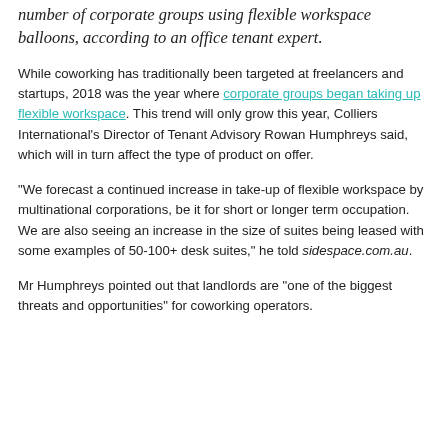number of corporate groups using flexible workspace balloons, according to an office tenant expert.
While coworking has traditionally been targeted at freelancers and startups, 2018 was the year where corporate groups began taking up flexible workspace. This trend will only grow this year, Colliers International's Director of Tenant Advisory Rowan Humphreys said, which will in turn affect the type of product on offer.
“We forecast a continued increase in take-up of flexible workspace by multinational corporations, be it for short or longer term occupation. We are also seeing an increase in the size of suites being leased with some examples of 50-100+ desk suites,” he told sidespace.com.au.
Mr Humphreys pointed out that landlords are “one of the biggest threats and opportunities” for coworking operators.